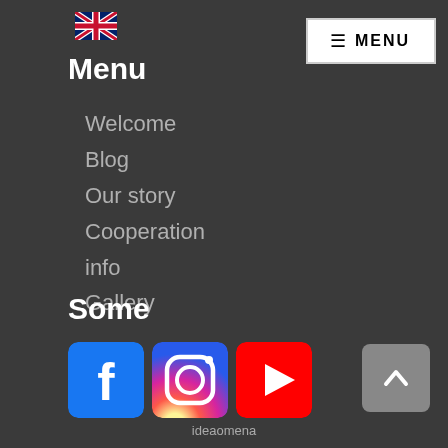[Figure (logo): UK flag icon (Union Jack)]
Menu
[Figure (screenshot): Menu button (hamburger icon with MENU text) in white box with border]
Welcome
Blog
Our story
Cooperation
info
Gallery
Some
[Figure (logo): Social media icons: Facebook (blue square with f), Instagram (gradient camera icon), YouTube (red button with play triangle)]
ideaomena